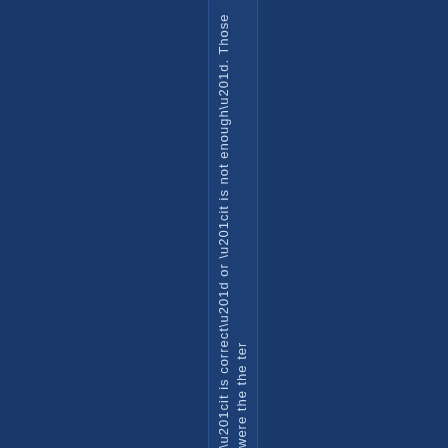“it is correct” or “it is not enough”. Those were the the ter